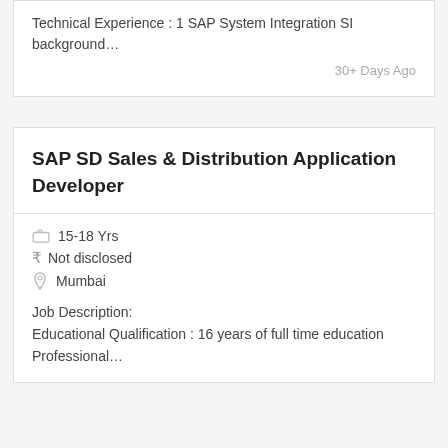Technical Experience : 1 SAP System Integration SI background…
30+ Days Ago
SAP SD Sales & Distribution Application Developer
15-18 Yrs
₹ Not disclosed
Mumbai
Job Description:
Educational Qualification : 16 years of full time education Professional…